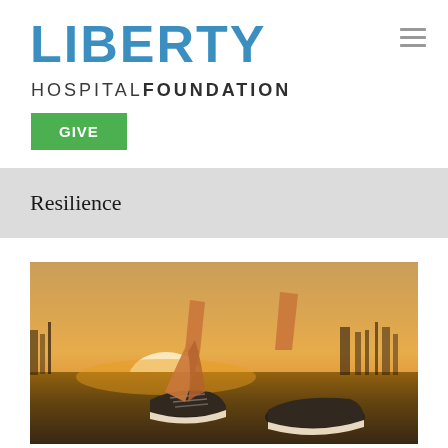LIBERTY HOSPITAL FOUNDATION
GIVE
Resilience
[Figure (photo): Person tying shoelaces on athletic sneakers on asphalt, backlit by warm golden sunset light with an industrial background.]